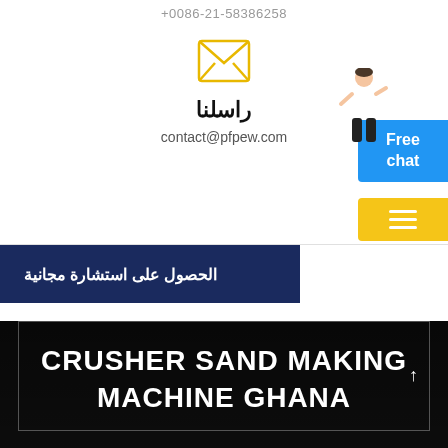+0086-21-58386258
[Figure (illustration): Yellow email/envelope icon]
راسلنا
contact@pfpew.com
الحصول على استشارة مجانية
CRUSHER SAND MAKING
MACHINE GHANA